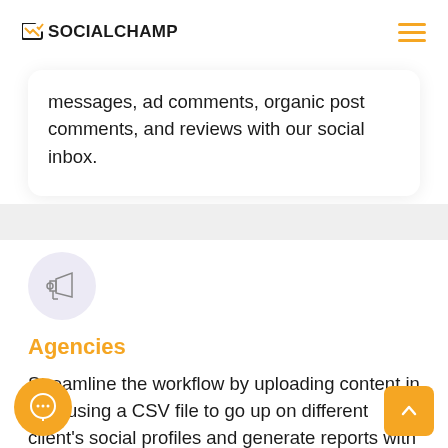SOCIALCHAMP
messages, ad comments, organic post comments, and reviews with our social inbox.
[Figure (illustration): Megaphone / announcement icon inside a light purple circle]
Agencies
Streamline the workflow by uploading content in bulk using a CSV file to go up on different client's social profiles and generate reports with a custom title and client logo!